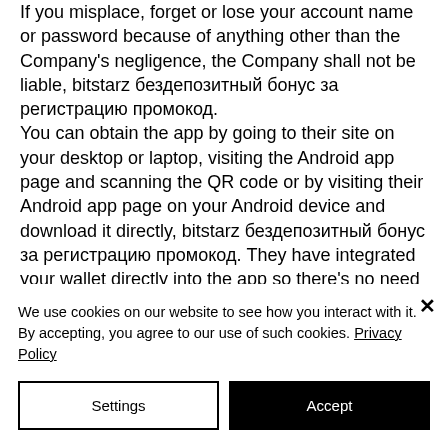If you misplace, forget or lose your account name or password because of anything other than the Company's negligence, the Company shall not be liable, bitstarz бездепозитный бонус за регистрацию промокод. You can obtain the app by going to their site on your desktop or laptop, visiting the Android app page and scanning the QR code or by visiting their Android app page on your Android device and download it directly, bitstarz бездепозитный бонус за регистрацию промокод. They have integrated your wallet directly into the app so there's no need to fidget between the
We use cookies on our website to see how you interact with it. By accepting, you agree to our use of such cookies. Privacy Policy